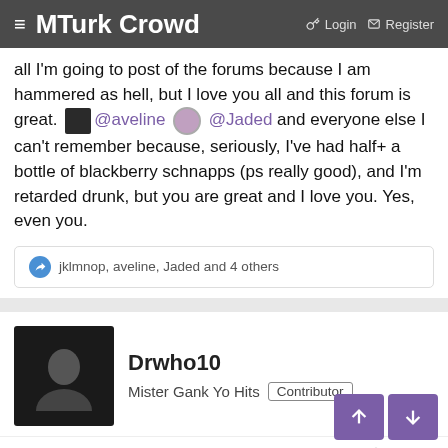MTurk Crowd — Login | Register
all I'm going to post of the forums because I am hammered as hell, but I love you all and this forum is great. @aveline @Jaded and everyone else I can't remember because, seriously, I've had half+ a bottle of blackberry schnapps (ps really good), and I'm retarded drunk, but you are great and I love you. Yes, even you.
jklmnop, aveline, Jaded and 4 others
Drwho10
Mister Gank Yo Hits  Contributor
Jan 16, 2016   #1,090
KittyRaces said:
True. Fucking. Story. We are fucking hammered as fuck. This is all I'm going to post of the forums because I am hammered as